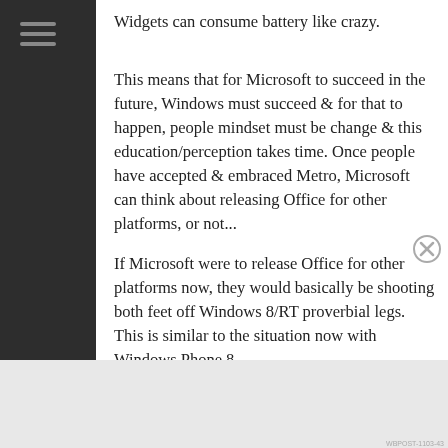Widgets can consume battery like crazy.
This means that for Microsoft to succeed in the future, Windows must succeed & for that to happen, people mindset must be change & this education/perception takes time. Once people have accepted & embraced Metro, Microsoft can think about releasing Office for other platforms, or not...
If Microsoft were to release Office for other platforms now, they would basically be shooting both feet off Windows 8/RT proverbial legs. This is similar to the situation now with Windows Phone 8.
Advertisements
[Figure (screenshot): DuckDuckGo advertisement banner: orange left section with text 'Search, browse, and email with more privacy. All in One Free App', dark right section with DuckDuckGo duck logo and DuckDuckGo text]